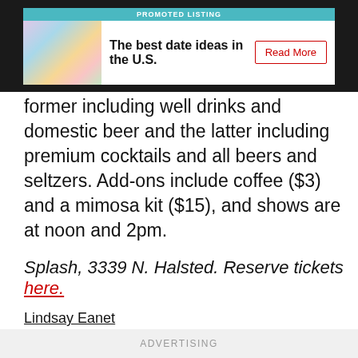[Figure (other): Promoted listing advertisement banner: colorful cocktail/drink image on left, headline 'The best date ideas in the U.S.' with a 'Read More' button on right, teal 'PROMOTED LISTING' bar at top]
former including well drinks and domestic beer and the latter including premium cocktails and all beers and seltzers. Add-ons include coffee ($3) and a mimosa kit ($15), and shows are at noon and 2pm.
Splash, 3339 N. Halsted. Reserve tickets here.
Lindsay Eanet
Read more
ADVERTISING